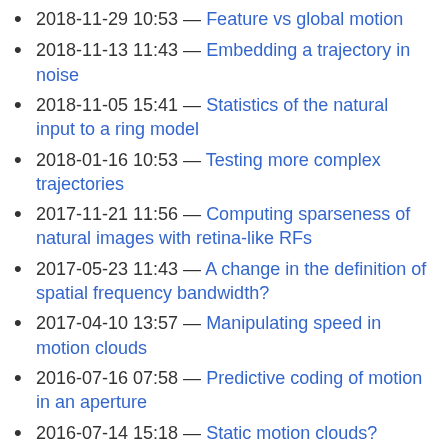2018-11-29 10:53 — Feature vs global motion
2018-11-13 11:43 — Embedding a trajectory in noise
2018-11-05 15:41 — Statistics of the natural input to a ring model
2018-01-16 10:53 — Testing more complex trajectories
2017-11-21 11:56 — Computing sparseness of natural images with retina-like RFs
2017-05-23 11:43 — A change in the definition of spatial frequency bandwidth?
2017-04-10 13:57 — Manipulating speed in motion clouds
2016-07-16 07:58 — Predictive coding of motion in an aperture
2016-07-14 15:18 — Static motion clouds?
2016-04-24 16:32 — A bit more fun with gravity waves
2016-04-06 15:52 — IRM clouds
2016-01-27 15:34 — Mirror clouds